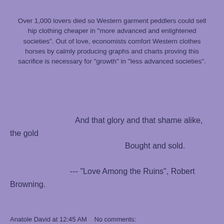Over 1,000 lovers died so Western garment peddlers could sell hip clothing cheaper in "more advanced and enlightened societies". Out of love, economists comfort Western clothes horses by calmly producing graphs and charts proving this sacrifice is necessary for "growth" in "less advanced societies".
And that glory and that shame alike, the gold
Bought and sold.
--- "Love Among the Ruins", Robert Browning.
Anatole David at 12:45 AM    No comments: